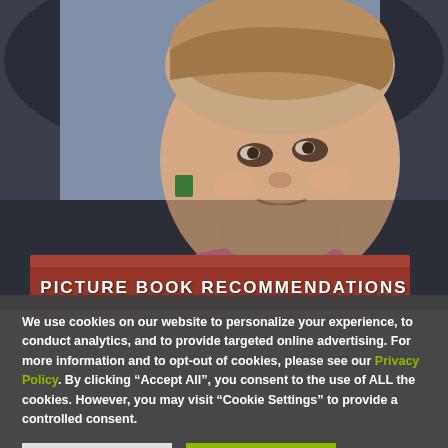[Figure (photo): A baby or toddler in a pink outfit looking at a book, with an adult in dark clothing behind them. Warm, candid photograph used as a header image for a picture book recommendations section.]
PICTURE BOOK RECOMMENDATIONS
We use cookies on our website to personalize your experience, to conduct analytics, and to provide targeted online advertising. For more information and to opt-out of cookies, please see our Privacy Policy. By clicking “Accept All”, you consent to the use of ALL the cookies. However, you may visit “Cookie Settings” to provide a controlled consent.